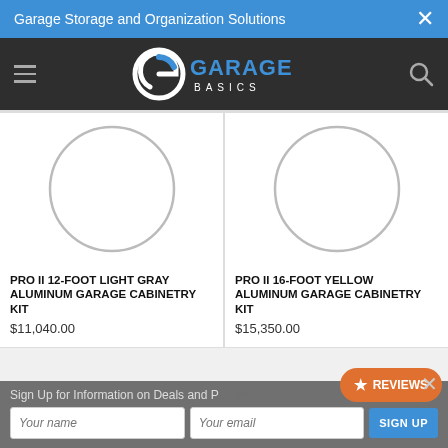Garage Storage and Organization Solutions
[Figure (logo): Garage Basics logo with stylized G icon and text 'GARAGE BASICS' on dark background]
[Figure (photo): Product image placeholder - circular loading indicator for PRO II 12-FOOT LIGHT GRAY ALUMINUM GARAGE CABINETRY KIT]
PRO II 12-FOOT LIGHT GRAY ALUMINUM GARAGE CABINETRY KIT
$11,040.00
[Figure (photo): Product image placeholder - circular loading indicator for PRO II 16-FOOT YELLOW ALUMINUM GARAGE CABINETRY KIT]
PRO II 16-FOOT YELLOW ALUMINUM GARAGE CABINETRY KIT
$15,350.00
Sign Up for Information on Deals and P...